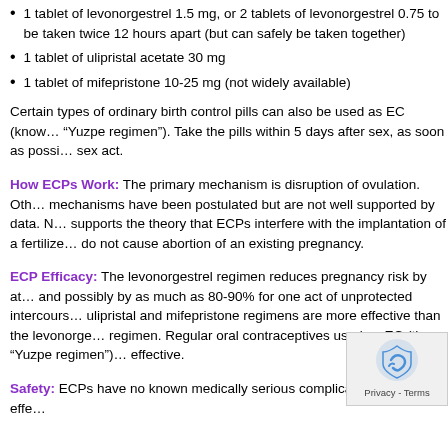1 tablet of levonorgestrel 1.5 mg, or 2 tablets of levonorgestrel 0.75 to be taken twice 12 hours apart (but can safely be taken together)
1 tablet of ulipristal acetate 30 mg
1 tablet of mifepristone 10-25 mg (not widely available)
Certain types of ordinary birth control pills can also be used as EC (known as “Yuzpe regimen”). Take the pills within 5 days after sex, as soon as possible after the sex act.
How ECPs Work: The primary mechanism is disruption of ovulation. Other mechanisms have been postulated but are not well supported by data. No evidence supports the theory that ECPs interfere with the implantation of a fertilized egg; they do not cause abortion of an existing pregnancy.
ECP Efficacy: The levonorgestrel regimen reduces pregnancy risk by at least 75% and possibly by as much as 80-90% for one act of unprotected intercourse. The ulipristal and mifepristone regimens are more effective than the levonorgestrel regimen. Regular oral contraceptives used as EC (the “Yuzpe regimen”) are less effective.
Safety: ECPs have no known medically serious complications. Side effects